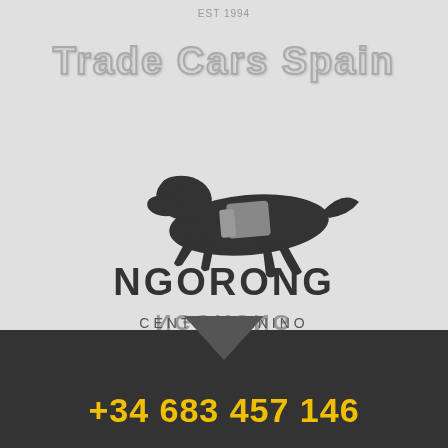EST 1994
Trade Cars Spain
[Figure (logo): Ngorong Centro Canino logo: a leaping dog silhouette in dark gray with a gray harness, text NGORONG in bold dark letters, reflected text below, and CENTRO CANINO underneath in spaced capitals]
+34 683 457 146